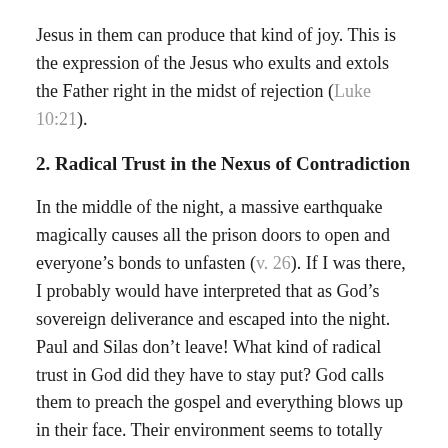Jesus in them can produce that kind of joy. This is the expression of the Jesus who exults and extols the Father right in the midst of rejection (Luke 10:21).
2. Radical Trust in the Nexus of Contradiction
In the middle of the night, a massive earthquake magically causes all the prison doors to open and everyone’s bonds to unfasten (v. 26). If I was there, I probably would have interpreted that as God’s sovereign deliverance and escaped into the night. Paul and Silas don’t leave! What kind of radical trust in God did they have to stay put? God calls them to preach the gospel and everything blows up in their face. Their environment seems to totally contradict and cut